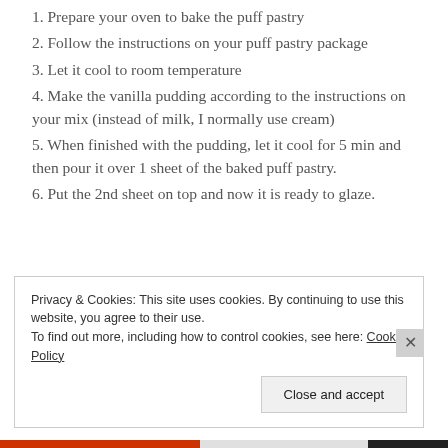1. Prepare your oven to bake the puff pastry
2. Follow the instructions on your puff pastry package
3. Let it cool to room temperature
4. Make the vanilla pudding according to the instructions on your mix (instead of milk, I normally use cream)
5. When finished with the pudding, let it cool for 5 min and then pour it over 1 sheet of the baked puff pastry.
6. Put the 2nd sheet on top and now it is ready to glaze.
Privacy & Cookies: This site uses cookies. By continuing to use this website, you agree to their use. To find out more, including how to control cookies, see here: Cookie Policy